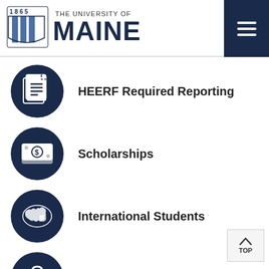1865 THE UNIVERSITY OF MAINE
HEERF Required Reporting
Scholarships
International Students
Graduating Students